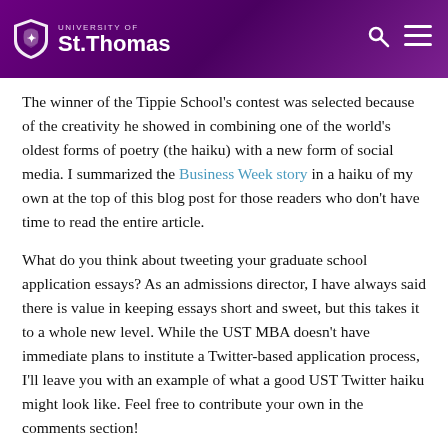[Figure (logo): University of St. Thomas logo with shield in purple header bar with search and menu icons]
The winner of the Tippie School's contest was selected because of the creativity he showed in combining one of the world's oldest forms of poetry (the haiku) with a new form of social media. I summarized the Business Week story in a haiku of my own at the top of this blog post for those readers who don't have time to read the entire article.
What do you think about tweeting your graduate school application essays? As an admissions director, I have always said there is value in keeping essays short and sweet, but this takes it to a whole new level. While the UST MBA doesn't have immediate plans to institute a Twitter-based application process, I'll leave you with an example of what a good UST Twitter haiku might look like. Feel free to contribute your own in the comments section!
Ethical leaders
Who are globally minded